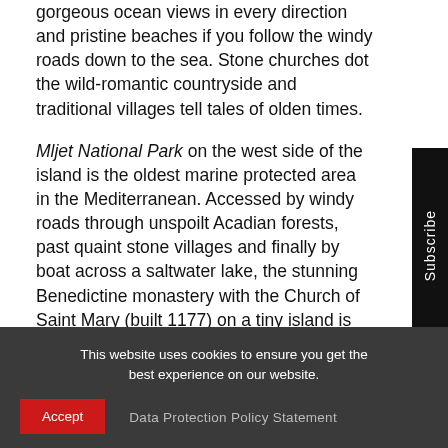gorgeous ocean views in every direction and pristine beaches if you follow the windy roads down to the sea. Stone churches dot the wild-romantic countryside and traditional villages tell tales of olden times.
Mljet National Park on the west side of the island is the oldest marine protected area in the Mediterranean. Accessed by windy roads through unspoilt Acadian forests, past quaint stone villages and finally by boat across a saltwater lake, the stunning Benedictine monastery with the Church of Saint Mary (built 1177) on a tiny island is alone worth the trip and just one of several attractions within the park!
Subscribe
This website uses cookies to ensure you get the best experience on our website.
Accept
Data Protection Policy Statement